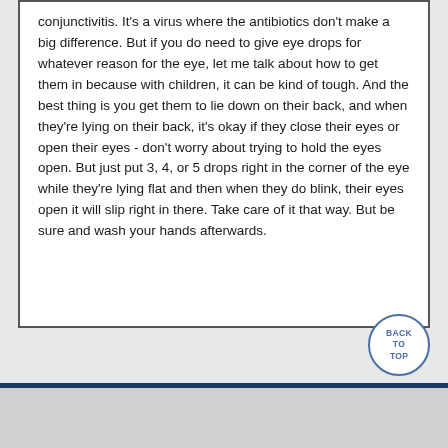conjunctivitis. It's a virus where the antibiotics don't make a big difference. But if you do need to give eye drops for whatever reason for the eye, let me talk about how to get them in because with children, it can be kind of tough. And the best thing is you get them to lie down on their back, and when they're lying on their back, it's okay if they close their eyes or open their eyes - don't worry about trying to hold the eyes open. But just put 3, 4, or 5 drops right in the corner of the eye while they're lying flat and then when they do blink, their eyes open it will slip right in there. Take care of it that way. But be sure and wash your hands afterwards.
BACK TO TOP